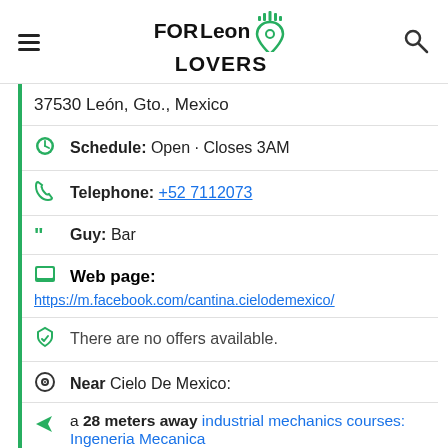FORLeon LOVERS
37530 León, Gto., Mexico
Schedule: Open · Closes 3AM
Telephone: +52 7112073
Guy: Bar
Web page:
https://m.facebook.com/cantina.cielodemexico/
There are no offers available.
Near Cielo De Mexico:
a 28 meters away industrial mechanics courses: Ingeneria Mecanica
a 47 meters away Infectious Disease Specialists: CIRAE Rehabilitación pulmonar y Terapia física